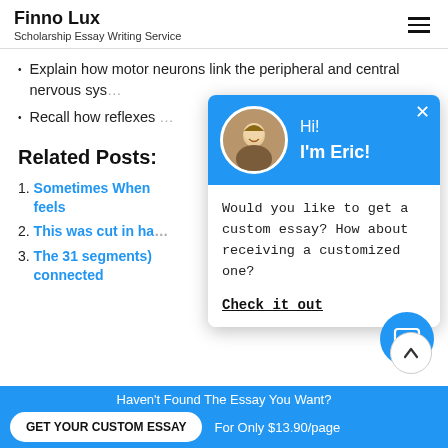Finno Lux
Scholarship Essay Writing Service
Explain how motor neurons link the peripheral and central nervous sys…
Recall how reflexes …
Related Posts:
1. Sometimes When … feels
2. This was cut in ha…
3. The 31 segments) … connected
[Figure (screenshot): Chat popup with blue header showing avatar of Eric with greeting 'Hi! I'm Eric!' and body text 'Would you like to get a custom essay? How about receiving a customized one?' with a 'Check it out' link]
Haven't Found The Essay You Want?
GET YOUR CUSTOM ESSAY   For Only $13.90/page